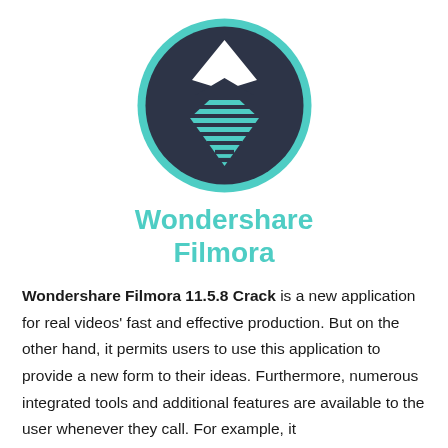[Figure (logo): Wondershare Filmora logo: dark circular background with teal border, white and teal diamond/play-button shapes inside]
Wondershare Filmora
Wondershare Filmora 11.5.8 Crack is a new application for real videos' fast and effective production. But on the other hand, it permits users to use this application to provide a new form to their ideas. Furthermore, numerous integrated tools and additional features are available to the user whenever they call. For example, it